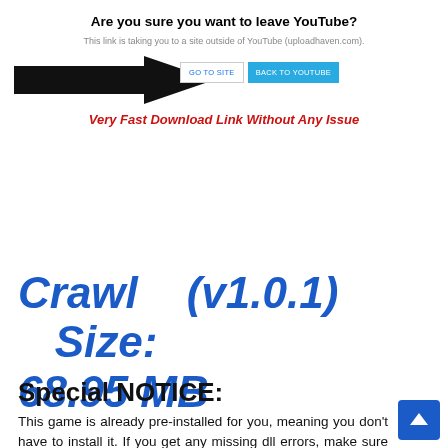Are you sure you want to leave YouTube?
This link is taking you to a site outside of YouTube (uploadhaven.com).
[Figure (screenshot): YouTube external link warning dialog with GO TO SITE and BACK TO YOUTUBE buttons, overlaid with a large black arrow pointing right and red italic text reading 'Very Fast Download Link Without Any Issue']
Crawl (v1.0.1) Size: 68.95 MB
Special NOTICE:
This game is already pre-installed for you, meaning you don't have to install it. If you get any missing dll errors, make sure to look for a Redist or _CommonRedist folder and install...